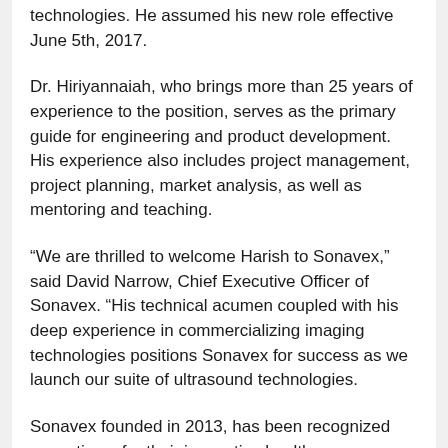technologies. He assumed his new role effective June 5th, 2017.
Dr. Hiriyannaiah, who brings more than 25 years of experience to the position, serves as the primary guide for engineering and product development. His experience also includes project management, project planning, market analysis, as well as mentoring and teaching.
“We are thrilled to welcome Harish to Sonavex,” said David Narrow, Chief Executive Officer of Sonavex. “His technical acumen coupled with his deep experience in commercializing imaging technologies positions Sonavex for success as we launch our suite of ultrasound technologies.
Sonavex founded in 2013, has been recognized many times for their innovative healthcare